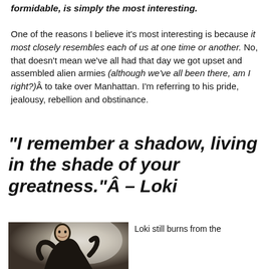formidable, is simply the most interesting.
One of the reasons I believe it’s most interesting is because it most closely resembles each of us at one time or another. No, that doesn’t mean we’ve all had that day we got upset and assembled alien armies (although we’ve all been there, am I right?)Â to take over Manhattan. I’m referring to his pride, jealousy, rebellion and obstinance.
“I remember a shadow, living in the shade of your greatness.”Â – Loki
[Figure (photo): Photo of a man (Loki character) in a crouching/lunging pose, appearing to scream or roar, wearing dark clothing, against a light background.]
Loki still burns from the